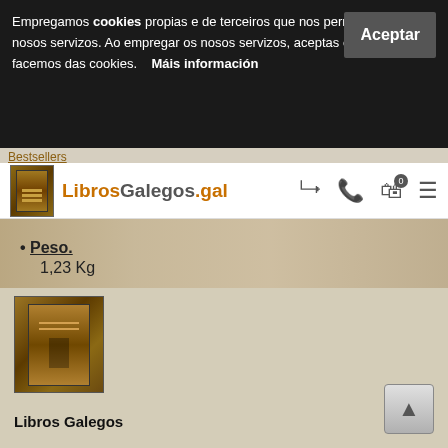Empregamos cookies propias e de terceiros que nos permiten ofrecer os nosos servizos. Ao empregar os nosos servizos, aceptas o uso que facemos das cookies.   Máis información
LibrosGalegos.gal
Peso.
1,23 Kg
Prezo (PVP) €:
35,00 €   ive enga.
Voltar
[Figure (photo): Thumbnail image of a book cover for Libros Galegos]
Libros Galegos